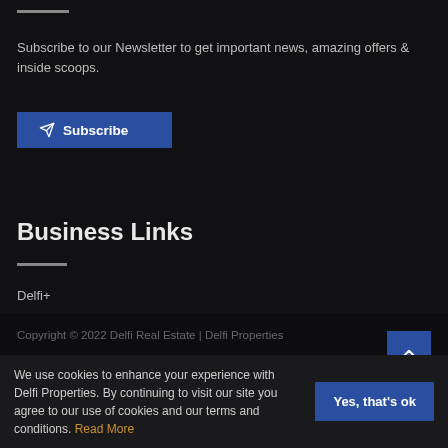Subscribe to our Newsletter to get important news, amazing offers & inside scoops.
[Figure (other): Blue Subscribe button with paper-plane icon]
Business Links
Delfi+
Copyright © 2022 Delfi Real Estate | Delfi Properties
We use cookies to enhance your experience with Delfi Properties. By continuing to visit our site you agree to our use of cookies and our terms and conditions. Read More
[Figure (other): Yes, that's ok button (blue)]